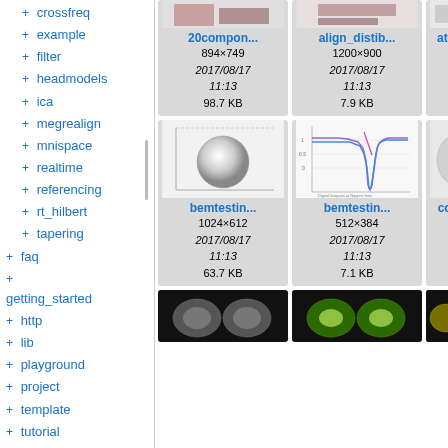+ crossfreq
+ example
+ filter
+ headmodels
+ ica
+ megrealign
+ mnispace
+ realtime
+ referencing
+ rt_hilbert
+ tapering
+ faq
+ getting_started
+ http
+ lib
+ playground
+ project
+ template
+ tutorial
+ wiki
+ workshop
[Figure (screenshot): Thumbnail for 20componen... image, 894x749]
20compon...
894×749
2017/08/17
11:13
98.7 KB
[Figure (screenshot): Thumbnail for align_distib... image, 1200x900]
align_distib...
1200×900
2017/08/17
11:13
7.9 KB
[Figure (screenshot): Thumbnail for atlasbas... image, 1348x...]
atlasbas...
1348×...
2017/0...
11:1...
156.6...
[Figure (illustration): BEM sphere testing image, 1024x612]
bemtestin...
1024×612
2017/08/17
11:13
63.7 KB
[Figure (continuous-plot): BEM testing line chart, 512x384]
bemtestin...
512×384
2017/08/17
11:13
7.1 KB
[Figure (screenshot): coreg_q... image, 1167x...]
coreg_q...
1167×...
2017/0...
11:1...
116.1...